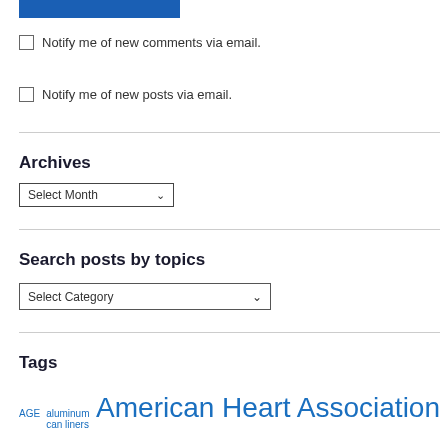[Figure (other): Blue rectangular button/bar at top]
Notify me of new comments via email.
Notify me of new posts via email.
Archives
Select Month (dropdown)
Search posts by topics
Select Category (dropdown)
Tags
AGE  aluminum can liners  American Heart Association